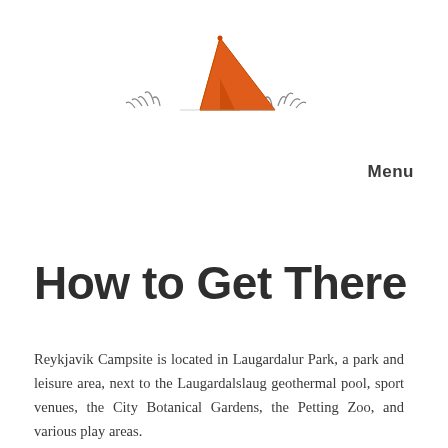[Figure (illustration): A hand-drawn style camping tent illustration with orange and yellow panels, with small decorative grass/plants sketched on either side of the tent base.]
Menu
How to Get There
Reykjavik Campsite is located in Laugardalur Park, a park and leisure area, next to the Laugardalslaug geothermal pool, sport venues, the City Botanical Gardens, the Petting Zoo, and various play areas.